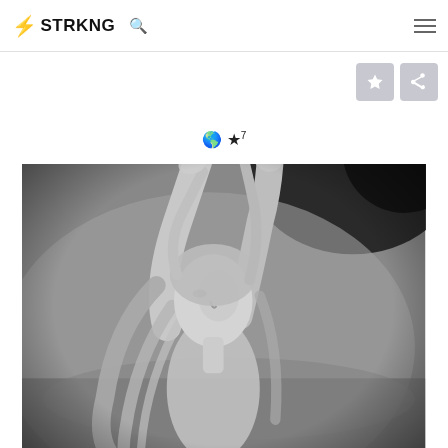⚡ STRKNG  🔍  ☰
[Figure (photo): Black and white photograph of a woman with long blonde hair, arms raised above her head, looking upward, photographed outdoors with a blurred natural background]
🌐 ★7